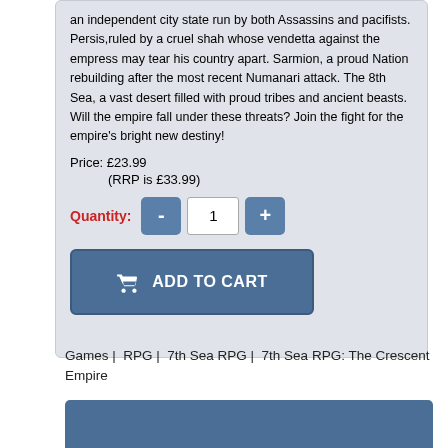an independent city state run by both Assassins and pacifists. Persis,ruled by a cruel shah whose vendetta against the empress may tear his country apart. Sarmion, a proud Nation rebuilding after the most recent Numanari attack. The 8th Sea, a vast desert filled with proud tribes and ancient beasts. Will the empire fall under these threats? Join the fight for the empire's bright new destiny!
Price: £23.99
(RRP is £33.99)
Quantity: - 1 +
ADD TO CART
Games |  RPG |  7th Sea RPG |  7th Sea RPG: The Crescent Empire